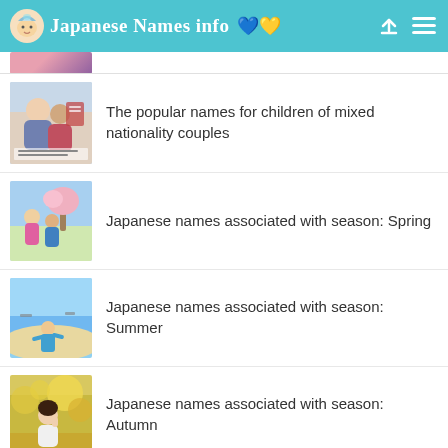Japanese Names info
The popular names for children of mixed nationality couples
Japanese names associated with season: Spring
Japanese names associated with season: Summer
Japanese names associated with season: Autumn
[Figure (photo): Partial thumbnail at bottom of page, cropped]